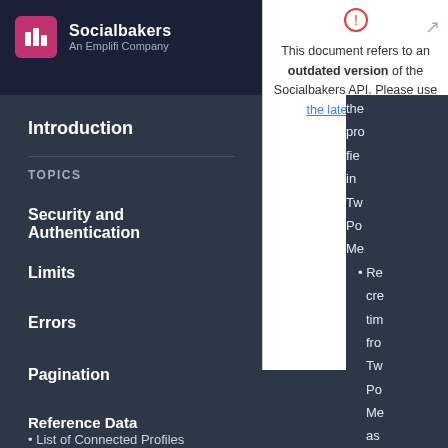[Figure (logo): Socialbakers An Emplifi Company logo]
Introduction
TOPICS
Security and Authentication
Limits
Errors
Pagination
Reference Data
List of Connected Profiles
This document refers to an outdated version of the Socialbakers API. Please use the latest version.
Tw
Po
Me
Re
cre
tim
fro
Tw
Po
Me
as
it
is
ag